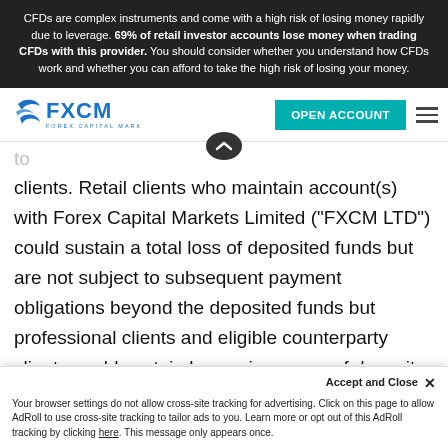CFDs are complex instruments and come with a high risk of losing money rapidly due to leverage. 69% of retail investor accounts lose money when trading CFDs with this provider. You should consider whether you understand how CFDs work and whether you can afford to take the high risk of losing your money.
[Figure (logo): FXCM Forex Capital Markets logo with blue swoosh icon and OPEN ACCOUNT teal button]
clients. Retail clients who maintain account(s) with Forex Capital Markets Limited ("FXCM LTD") could sustain a total loss of deposited funds but are not subject to subsequent payment obligations beyond the deposited funds but professional clients and eligible counterparty clients could sustain losses in excess of deposits. Prior to trading any products
Accept and Close ✕ Your browser settings do not allow cross-site tracking for advertising. Click on this page to allow AdRoll to use cross-site tracking to tailor ads to you. Learn more or opt out of this AdRoll tracking by clicking here. This message only appears once.